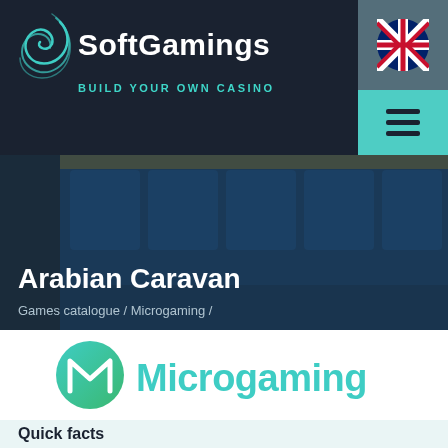[Figure (logo): SoftGamings logo with spiral icon and tagline BUILD YOUR OWN CASINO on dark navy background]
[Figure (logo): UK flag circle icon in top right corner on grey-blue background]
[Figure (illustration): Hamburger menu icon (three horizontal lines) on teal background]
Arabian Caravan
Games catalogue / Microgaming /
[Figure (logo): Microgaming logo: circular gradient icon (teal to green) with M symbol and Microgaming text in teal/green]
Quick facts